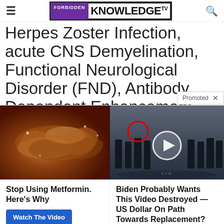FORBIDDEN KNOWLEDGE TV
Herpes Zoster Infection, acute CNS Demyelination, Functional Neurological Disorder (FND), Antibody Dependent Enhancement (ADE), Guillain-Barre Syn…
Promoted ×
[Figure (photo): Advertisement with two panels: left shows a close-up photo of internal organs (pancreas-like tissue), right shows a video thumbnail of men in suits at the CIA with a play button overlay and a red circle highlighting one person. Below each image are ad headlines and Watch The Video buttons.]
Stop Using Metformin. Here's Why
Watch The Video
Biden Probably Wants This Video Destroyed — US Dollar On Path Towards Replacement?
Watch The Video